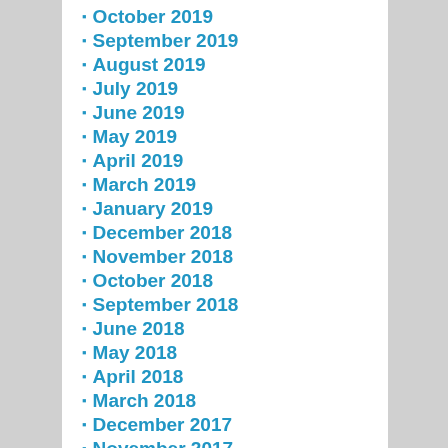October 2019
September 2019
August 2019
July 2019
June 2019
May 2019
April 2019
March 2019
January 2019
December 2018
November 2018
October 2018
September 2018
June 2018
May 2018
April 2018
March 2018
December 2017
November 2017
October 2017
May 2017
March 2017